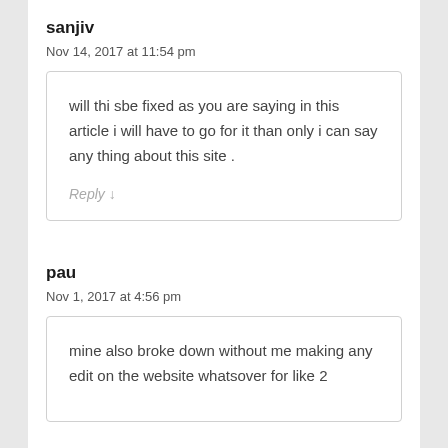sanjiv
Nov 14, 2017 at 11:54 pm
will thi sbe fixed as you are saying in this article i will have to go for it than only i can say any thing about this site .
Reply ↓
pau
Nov 1, 2017 at 4:56 pm
mine also broke down without me making any edit on the website whatsover for like 2